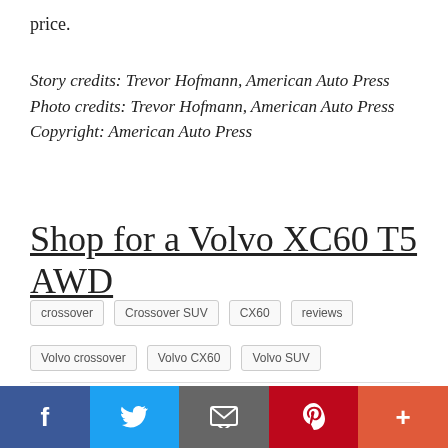price.
Story credits: Trevor Hofmann, American Auto Press Photo credits: Trevor Hofmann, American Auto Press Copyright: American Auto Press
Shop for a Volvo XC60 T5 AWD
crossover
Crossover SUV
CX60
reviews
Volvo crossover
Volvo CX60
Volvo SUV
[Figure (infographic): Social share buttons: Twitter, Facebook, Pinterest icons in a horizontal bar; bottom social bar with Facebook, Twitter, Email, Pinterest, More buttons]